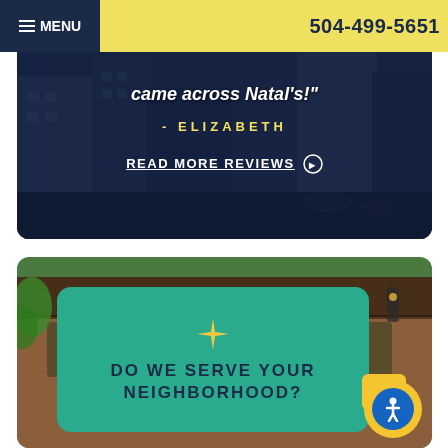☰ MENU   504-499-5651
[Figure (screenshot): Dark-overlaid street scene photo with testimonial quote text: 'came across Natal's!' - ELIZABETH, and a READ MORE REVIEWS link]
[Figure (screenshot): New Orleans French Quarter building photo with teal overlay card reading 'DO WE SERVE YOUR NEIGHBORHOOD?' with a gold star icon, and an accessibility button in bottom right]